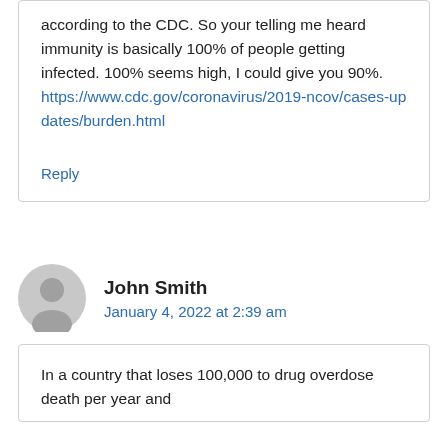according to the CDC. So your telling me heard immunity is basically 100% of people getting infected. 100% seems high, I could give you 90%. https://www.cdc.gov/coronavirus/2019-ncov/cases-updates/burden.html
Reply
John Smith
January 4, 2022 at 2:39 am
In a country that loses 100,000 to drug overdose death per year and